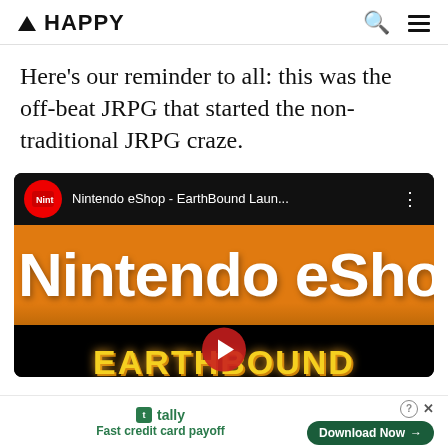▲ HAPPY
Here's our reminder to all: this was the off-beat JRPG that started the non-traditional JRPG craze.
[Figure (screenshot): YouTube video screenshot showing Nintendo eShop - EarthBound Laun... with Nintendo channel icon, orange banner reading 'Nintendo eShop', and bottom section showing partial EarthBound title text in yellow.]
tally Fast credit card payoff Download Now →